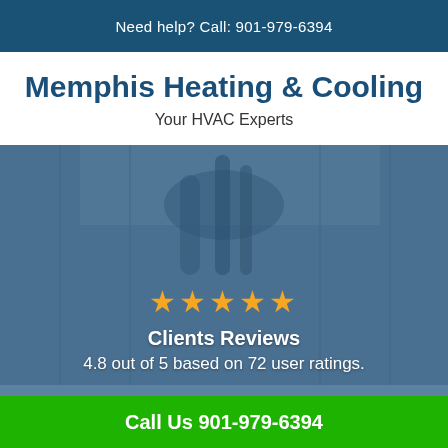Need help? Call: 901-979-6394
Memphis Heating & Cooling
Your HVAC Experts
[Figure (photo): HVAC unit close-up with blue overlay showing cables and ductwork, with 5-star rating and client review text overlay]
Clients Reviews
4.8 out of 5 based on 72 user ratings.
Call Us 901-979-6394